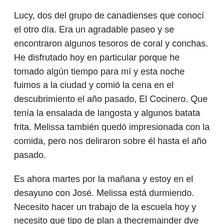Lucy, dos del grupo de canadienses que conocí el otro día. Era un agradable paseo y se encontraron algunos tesoros de coral y conchas. He disfrutado hoy en particular porque he tomado algún tiempo para mí y esta noche fuimos a la ciudad y comió la cena en el descubrimiento el año pasado, El Cocinero. Que tenía la ensalada de langosta y algunos batata frita. Melissa también quedó impresionada con la comida, pero nos deliraron sobre él hasta el año pasado.
Es ahora martes por la mañana y estoy en el desayuno con José. Melissa está durmiendo. Necesito hacer un trabajo de la escuela hoy y necesito que tipo de plan a thecremainder dve vacaciones. Se probabky hacer un viaje a WI la próxima semana para finalizar un par de cosas y espero conseguir otra escuela trabajo administrativo terminado. Volviendo a El Cocinero hoy